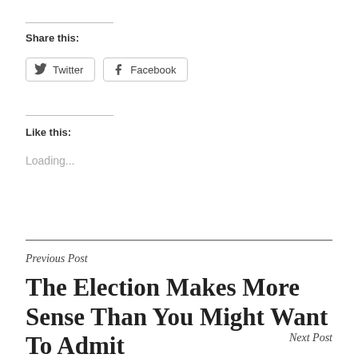Share this:
Twitter  Facebook
Like this:
Loading...
Previous Post
The Election Makes More Sense Than You Might Want To Admit
Next Post